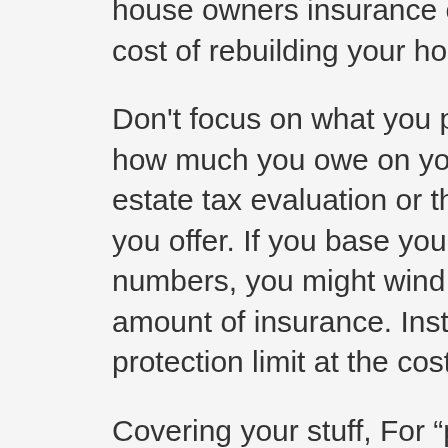house owners insurance coverage to cover the cost of rebuilding your house if it's destroyed.
Don't focus on what you paid for your house, how much you owe on your mortgage, your real estate tax evaluation or the rate you might get if you offer. If you base your coverage on those numbers, you might wind up with the wrong amount of insurance. Instead, set your residence protection limit at the cost to restore.
Covering your stuff, For “personal home,” your belongings, you’ll typically desire protection limits that are at least 50% of your house